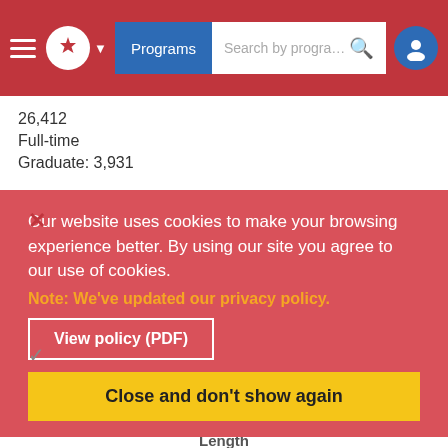Programs | Search by programs of
26,412
Full-time
Graduate: 3,931
Degree
Diploma
Honours
Co-op
Our website uses cookies to make your browsing experience better. By using our site you agree to our use of cookies.
Note: We've updated our privacy policy.
View policy (PDF)
Close and don't show again
Length